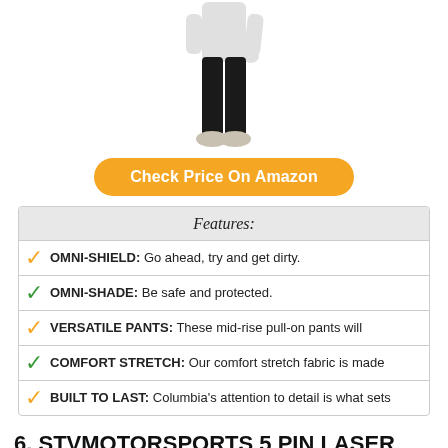[Figure (photo): Woman wearing black slim pants and white sneakers, photographed from waist down]
Check Price On Amazon
| Features: |
| --- |
| ✓ OMNI-SHIELD: Go ahead, try and get dirty. |
| ✓ OMNI-SHADE: Be safe and protected. |
| ✓ VERSATILE PANTS: These mid-rise pull-on pants will |
| ✓ COMFORT STRETCH: Our comfort stretch fabric is made |
| ✓ BUILT TO LAST: Columbia's attention to detail is what sets |
6. STVMOTORSPORTS 5 PIN LASER AUTOMOTIVE ROCKER SWITCHES ON/OFF LED LIGHT 12V 20A – INTERIOR ACCESSORIES